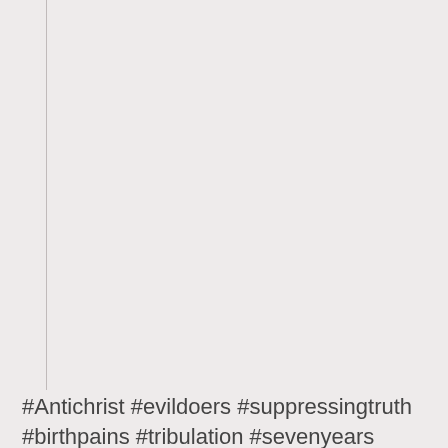#Antichrist #evildoers #suppressingtruth #birthpains #tribulation #sevenyears #hellonearth #those that have ears, let him hear, those that have eyes let them see!